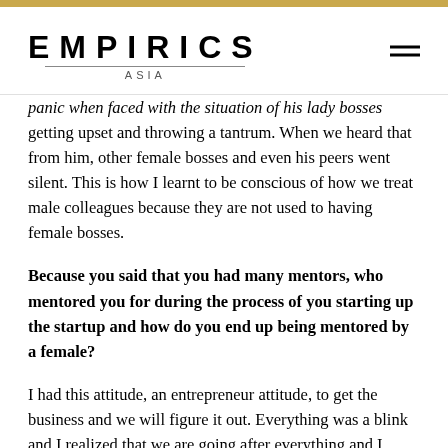EMPIRICS ASIA
panic when faced with the situation of his lady bosses getting upset and throwing a tantrum. When we heard that from him, other female bosses and even his peers went silent. This is how I learnt to be conscious of how we treat male colleagues because they are not used to having female bosses.
Because you said that you had many mentors, who mentored you for during the process of you starting up the startup and how do you end up being mentored by a female?
I had this attitude, an entrepreneur attitude, to get the business and we will figure it out. Everything was a blink and I realized that we are going after everything and I